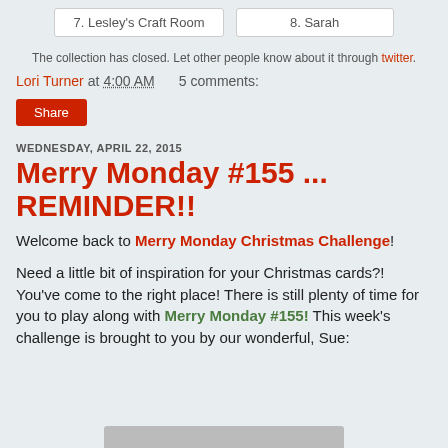7. Lesley's Craft Room
8. Sarah
The collection has closed. Let other people know about it through twitter.
Lori Turner at 4:00 AM    5 comments:
Share
WEDNESDAY, APRIL 22, 2015
Merry Monday #155 ... REMINDER!!
Welcome back to Merry Monday Christmas Challenge!
Need a little bit of inspiration for your Christmas cards?! You've come to the right place! There is still plenty of time for you to play along with Merry Monday #155! This week's challenge is brought to you by our wonderful, Sue: